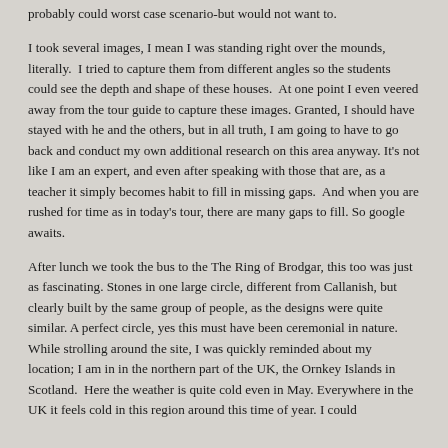probably could worst case scenario-but would not want to.
I took several images, I mean I was standing right over the mounds, literally.  I tried to capture them from different angles so the students could see the depth and shape of these houses.  At one point I even veered away from the tour guide to capture these images. Granted, I should have stayed with he and the others, but in all truth, I am going to have to go back and conduct my own additional research on this area anyway. It's not like I am an expert, and even after speaking with those that are, as a teacher it simply becomes habit to fill in missing gaps.  And when you are rushed for time as in today's tour, there are many gaps to fill. So google awaits.
After lunch we took the bus to the The Ring of Brodgar, this too was just as fascinating. Stones in one large circle, different from Callanish, but clearly built by the same group of people, as the designs were quite similar. A perfect circle, yes this must have been ceremonial in nature.  While strolling around the site, I was quickly reminded about my location; I am in in the northern part of the UK, the Ornkey Islands in Scotland.  Here the weather is quite cold even in May. Everywhere in the UK it feels cold in this region around this time of year. I could